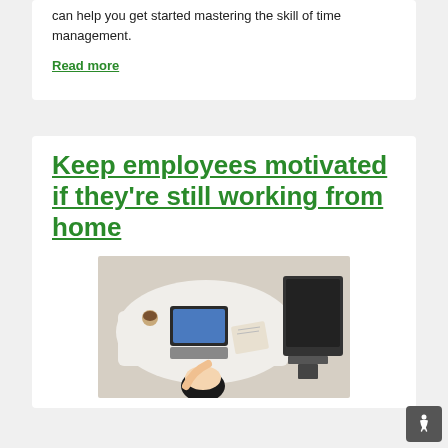can help you get started mastering the skill of time management.
Read more
Keep employees motivated if they're still working from home
[Figure (photo): Overhead view of a person working at a white desk with a laptop, notebook and coffee cup; another desk with a monitor visible in the background.]